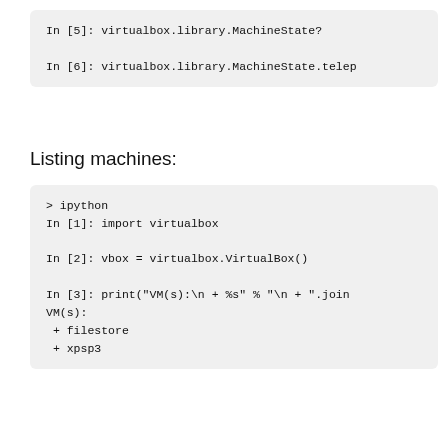[Figure (screenshot): Code block showing: In [5]: virtualbox.library.MachineState? and In [6]: virtualbox.library.MachineState.tele...]
Listing machines:
[Figure (screenshot): Code block showing ipython session: import virtualbox, vbox = virtualbox.VirtualBox(), print VM(s) with output filestore and xpsp3]